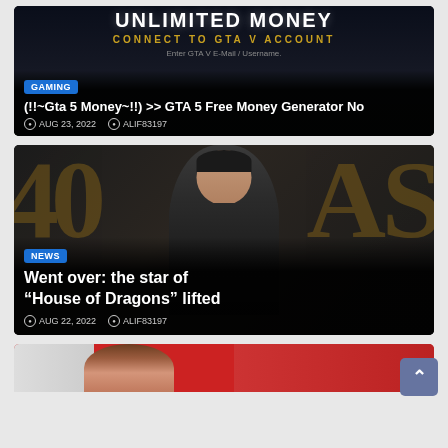[Figure (screenshot): Gaming article card with dark background showing GTA 5 unlimited money text, GAMING badge, title about GTA 5 Free Money Generator, date AUG 23 2022, author ALIF83197]
(!!~Gta 5 Money~!!) >> GTA 5 Free Money Generator No
AUG 23, 2022  ALIF83197
[Figure (screenshot): News article card showing man in suit at what appears to be a premiere with gold letters in background, NEWS badge, title about House of Dragons star, date AUG 22 2022, author ALIF83197]
Went over: the star of “House of Dragons” lifted
AUG 22, 2022  ALIF83197
[Figure (screenshot): Partial view of third article card showing a woman with red clothing and brown hair, partially cropped at bottom of page]